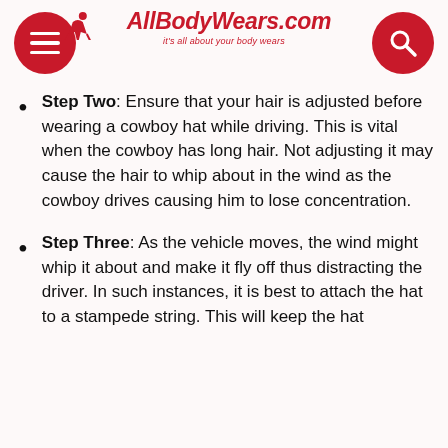AllBodyWears.com — it's all about your body wears
Step Two: Ensure that your hair is adjusted before wearing a cowboy hat while driving. This is vital when the cowboy has long hair. Not adjusting it may cause the hair to whip about in the wind as the cowboy drives causing him to lose concentration.
Step Three: As the vehicle moves, the wind might whip it about and make it fly off thus distracting the driver. In such instances, it is best to attach the hat to a stampede string. This will keep the hat